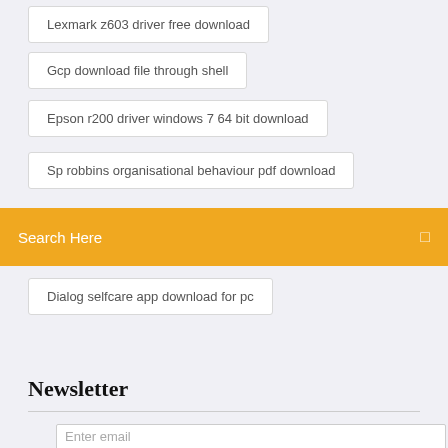Lexmark z603 driver free download
Gcp download file through shell
Epson r200 driver windows 7 64 bit download
Sp robbins organisational behaviour pdf download
Search Here
Dialog selfcare app download for pc
Newsletter